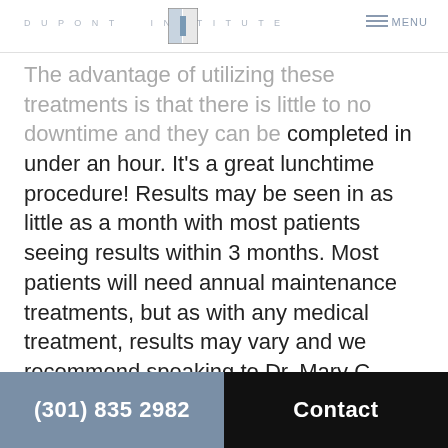DU PONT INSTITUTE MENU
The advantage of utilizing these treatments is that there is little to no downtime and they can be completed in under an hour. It's a great lunchtime procedure! Results may be seen in as little as a month with most patients seeing results within 3 months. Most patients will need annual maintenance treatments, but as with any medical treatment, results may vary and we recommend speaking to Dr. Mary C. DuPont, vaginal health specialist in Chevy Chase, MD and Washington DC, about your specific needs and expectations.
(301) 835 2982  Contact